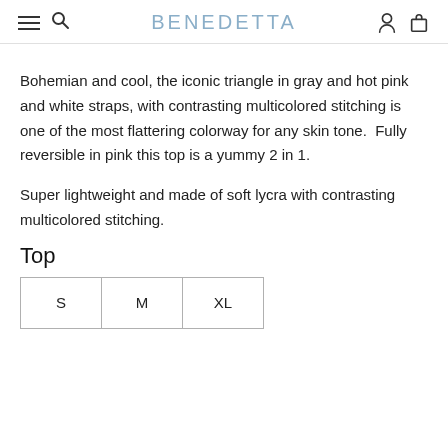BENEDETTA
Bohemian and cool, the iconic triangle in gray and hot pink and white straps, with contrasting multicolored stitching is one of the most flattering colorway for any skin tone.  Fully reversible in pink this top is a yummy 2 in 1.
Super lightweight and made of soft lycra with contrasting multicolored stitching.
Top
| S | M | XL |